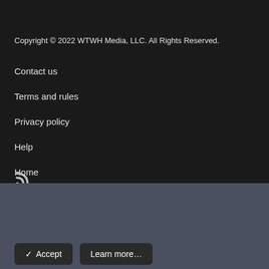Copyright © 2022 WTWH Media, LLC. All Rights Reserved.
Contact us
Terms and rules
Privacy policy
Help
Home
This site uses cookies to help personalise content, tailor your experience and to keep you logged in if you register.
By continuing to use this site, you are consenting to our use of cookies.
✓ Accept   Learn more…